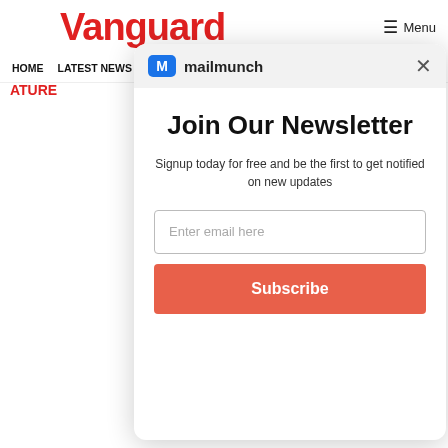Vanguard
Menu
HOME  LATEST NEWS  METRO  SPORTS  ENTERTAINMENT  VIDEOS
[Figure (screenshot): Mailmunch newsletter signup modal overlay with logo, close button, title 'Join Our Newsletter', subtitle text, email input field, and Subscribe button]
Join Our Newsletter
Signup today for free and be the first to get notified on new updates